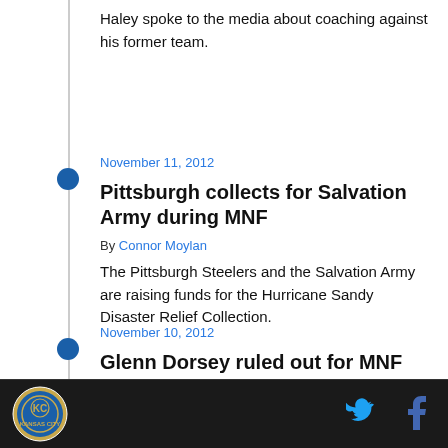Haley spoke to the media about coaching against his former team.
November 11, 2012
Pittsburgh collects for Salvation Army during MNF
By Connor Moylan
The Pittsburgh Steelers and the Salvation Army are raising funds for the Hurricane Sandy Disaster Relief Collection.
November 10, 2012
Glenn Dorsey ruled out for MNF
By Matt Conner
[Figure (logo): Kansas City Chiefs logo in footer]
[Figure (logo): Twitter bird icon in footer]
[Figure (logo): Facebook f icon in footer]